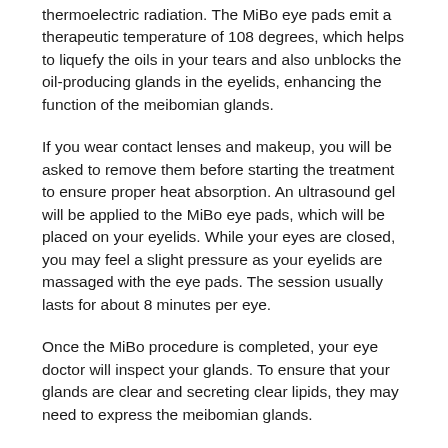thermoelectric radiation. The MiBo eye pads emit a therapeutic temperature of 108 degrees, which helps to liquefy the oils in your tears and also unblocks the oil-producing glands in the eyelids, enhancing the function of the meibomian glands.
If you wear contact lenses and makeup, you will be asked to remove them before starting the treatment to ensure proper heat absorption. An ultrasound gel will be applied to the MiBo eye pads, which will be placed on your eyelids. While your eyes are closed, you may feel a slight pressure as your eyelids are massaged with the eye pads. The session usually lasts for about 8 minutes per eye.
Once the MiBo procedure is completed, your eye doctor will inspect your glands. To ensure that your glands are clear and secreting clear lipids, they may need to express the meibomian glands.
MiBo Thermoflo Is A Safe Alternative to Other